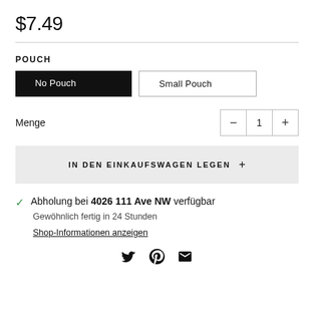$7.49
POUCH
No Pouch | Small Pouch
Menge  −  1  +
IN DEN EINKAUFSWAGEN LEGEN +
Abholung bei 4026 111 Ave NW verfügbar
Gewöhnlich fertig in 24 Stunden
Shop-Informationen anzeigen